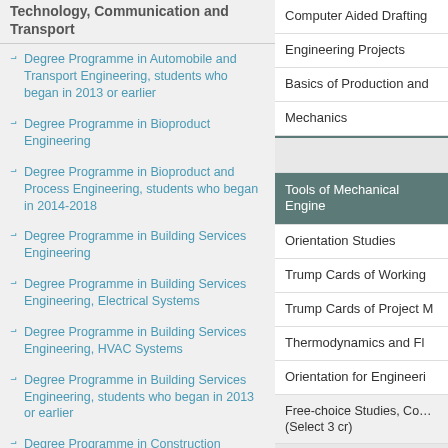Technology, Communication and Transport
Degree Programme in Automobile and Transport Engineering, students who began in 2013 or earlier
Degree Programme in Bioproduct Engineering
Degree Programme in Bioproduct and Process Engineering, students who began in 2014-2018
Degree Programme in Building Services Engineering
Degree Programme in Building Services Engineering, Electrical Systems
Degree Programme in Building Services Engineering, HVAC Systems
Degree Programme in Building Services Engineering, students who began in 2013 or earlier
Degree Programme in Construction Architect
Degree Programme in Construction Engineering
Computer Aided Drafting
Engineering Projects
Basics of Production and
Mechanics
Tools of Mechanical Engine
Orientation Studies
Trump Cards of Working
Trump Cards of Project M
Thermodynamics and Fl
Orientation for Engineeri
Free-choice Studies, Co… (Select 3 cr)
Basic Competences of Me